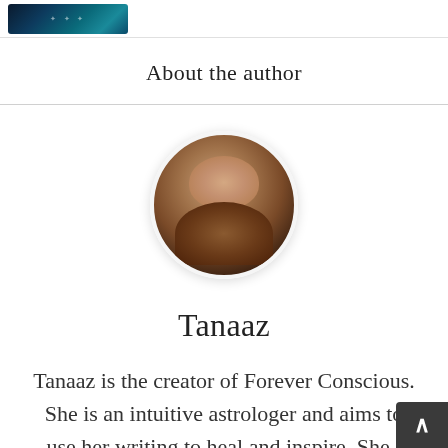[Figure (photo): Small thumbnail image with dark teal/blue background and stars, appears to be a decorative article header image]
About the author
[Figure (photo): Circular portrait photo of Tanaaz, a young woman with curly dark hair, smiling]
Tanaaz
Tanaaz is the creator of Forever Conscious. She is an intuitive astrologer and aims to use her writing to heal and inspire. She i